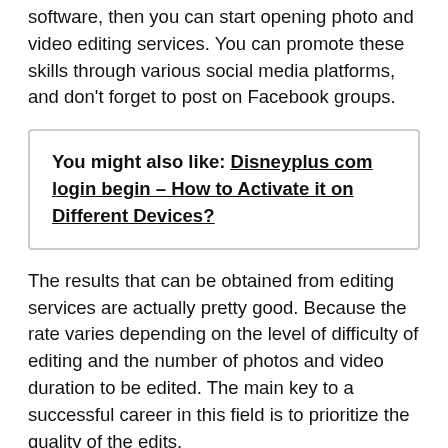software, then you can start opening photo and video editing services. You can promote these skills through various social media platforms, and don't forget to post on Facebook groups.
You might also like: Disneyplus com login begin – How to Activate it on Different Devices?
The results that can be obtained from editing services are actually pretty good. Because the rate varies depending on the level of difficulty of editing and the number of photos and video duration to be edited. The main key to a successful career in this field is to prioritize the quality of the edits.
1. Developer